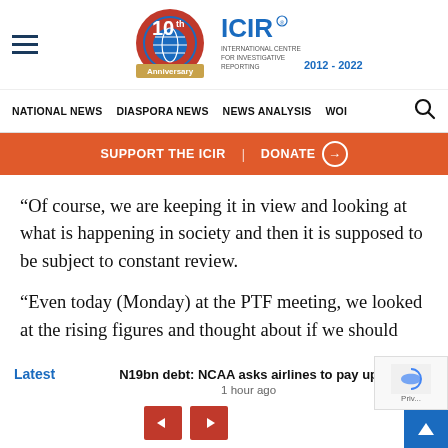[Figure (logo): ICIR 10th Anniversary logo with globe icon and text '2012-2022' alongside ICIR branding]
NATIONAL NEWS  DIASPORA NEWS  NEWS ANALYSIS  WOI
SUPPORT THE ICIR  |  DONATE ➔
“Of course, we are keeping it in view and looking at what is happening in society and then it is supposed to be subject to constant review.
“Even today (Monday) at the PTF meeting, we looked at the rising figures and thought about if we should
Latest  N19bn debt: NCAA asks airlines to pay up  1 hour ago